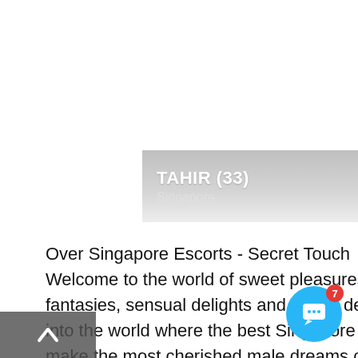[Figure (other): A gradient banner overlay showing the name TAHIR (33) and location Singapore]
Over Singapore Escorts - Secret Touch Welcome to the world of sweet pleasures, piquant fantasies, sensual delights and secret desires. Immerse into the world where the best Singapore escorts will make the most cherished male dreams come true. The charming sg escort are ready to become princesses, mistresses and fairies for the inhabitants and guests of the city. All you have to do is to hire a social escort on website sexosingapore. VIP-ladies, students, housewives and mature ladies will be glad to render